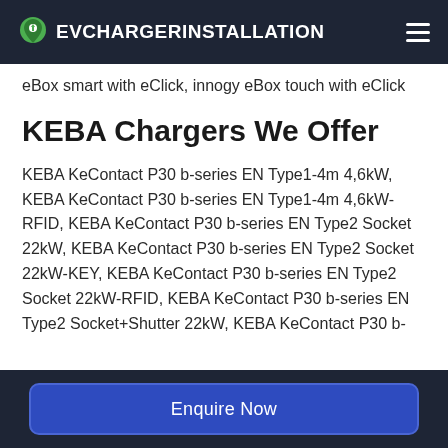EVCHARGERINSTALLATION
eBox smart with eClick, innogy eBox touch with eClick
KEBA Chargers We Offer
KEBA KeContact P30 b-series EN Type1-4m 4,6kW, KEBA KeContact P30 b-series EN Type1-4m 4,6kW-RFID, KEBA KeContact P30 b-series EN Type2 Socket 22kW, KEBA KeContact P30 b-series EN Type2 Socket 22kW-KEY, KEBA KeContact P30 b-series EN Type2 Socket 22kW-RFID, KEBA KeContact P30 b-series EN Type2 Socket+Shutter 22kW, KEBA KeContact P30 b-
Enquire Now